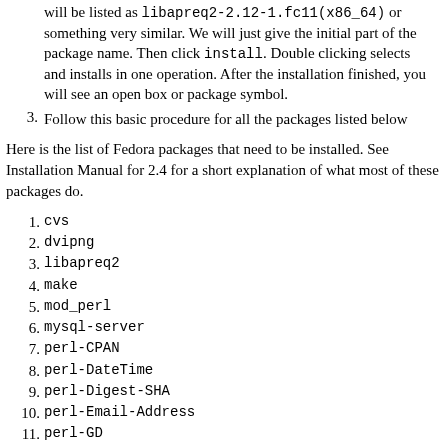will be listed as libapreq2-2.12-1.fc11(x86_64) or something very similar. We will just give the initial part of the package name. Then click install. Double clicking selects and installs in one operation. After the installation finished, you will see an open box or package symbol.
3. Follow this basic procedure for all the packages listed below
Here is the list of Fedora packages that need to be installed. See Installation Manual for 2.4 for a short explanation of what most of these packages do.
1. cvs
2. dvipng
3. libapreq2
4. make
5. mod_perl
6. mysql-server
7. perl-CPAN
8. perl-DateTime
9. perl-Digest-SHA
10. perl-Email-Address
11. perl-GD
12. perl-LDAP
13. perl-libapreq2
14. perl-Mail-Sender
15. perl-SQL-Abstract